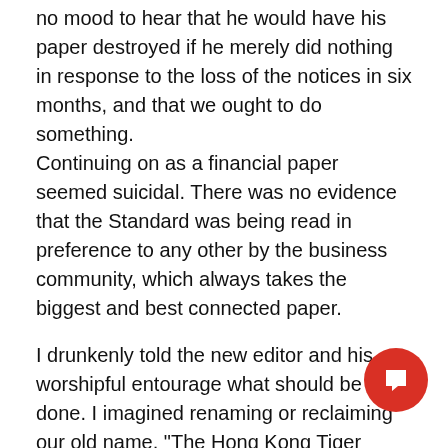no mood to hear that he would have his paper destroyed if he merely did nothing in response to the loss of the notices in six months, and that we ought to do something.
Continuing on as a financial paper seemed suicidal. There was no evidence that the Standard was being read in preference to any other by the business community, which always takes the biggest and best connected paper.
I drunkenly told the new editor and his worshipful entourage what should be done. I imagined renaming or reclaiming our old name, "The Hong Kong Tiger Standard", which the Chinese still loved. Chinese staffers had little pictures of tigers discreetly placed on the wall around their desks, the significance of which was unknown to all but them and me.
I knew because my mother's old CBC producer, Joan